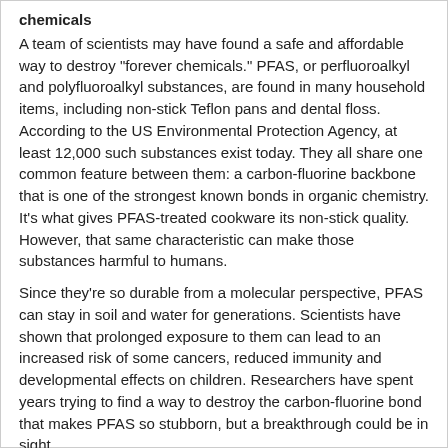chemicals
A team of scientists may have found a safe and affordable way to destroy "forever chemicals." PFAS, or perfluoroalkyl and polyfluoroalkyl substances, are found in many household items, including non-stick Teflon pans and dental floss. According to the US Environmental Protection Agency, at least 12,000 such substances exist today. They all share one common feature between them: a carbon-fluorine backbone that is one of the strongest known bonds in organic chemistry. It's what gives PFAS-treated cookware its non-stick quality. However, that same characteristic can make those substances harmful to humans.
Since they're so durable from a molecular perspective, PFAS can stay in soil and water for generations. Scientists have shown that prolonged exposure to them can lead to an increased risk of some cancers, reduced immunity and developmental effects on children. Researchers have spent years trying to find a way to destroy the carbon-fluorine bond that makes PFAS so stubborn, but a breakthrough could be in sight.
In a study published Thursday in the journal Science, a group of chemists from UCLA, Northwestern University and China found that a mixture of sodium hydroxide, a chemical used in lye, and an organic solvent called dimethyl sulfoxide was effective at breaking down a large subgroup of PFAS known as perfluoro carboxylic acids or PFCAs. When lead author Brittany Trang heated the mixture between 175 and 250 degrees Fahrenheit (about 79 to 121 degrees Celsius), it began breaking down the bonds between the PFAS molecules. After a few days, the mixture can even reduce any fluorine byproducts into